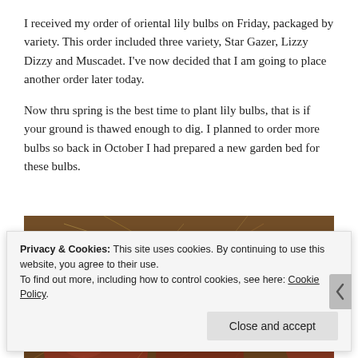I received my order of oriental lily bulbs on Friday, packaged by variety. This order included three variety, Star Gazer, Lizzy Dizzy and Muscadet. I've now decided that I am going to place another order later today.
Now thru spring is the best time to plant lily bulbs, that is if your ground is thawed enough to dig. I planned to order more bulbs so back in October I had prepared a new garden bed for these bulbs.
[Figure (photo): Close-up photograph of oriental lily bulbs — reddish-brown bulbs with dry roots and soil, clustered together]
Privacy & Cookies: This site uses cookies. By continuing to use this website, you agree to their use.
To find out more, including how to control cookies, see here: Cookie Policy